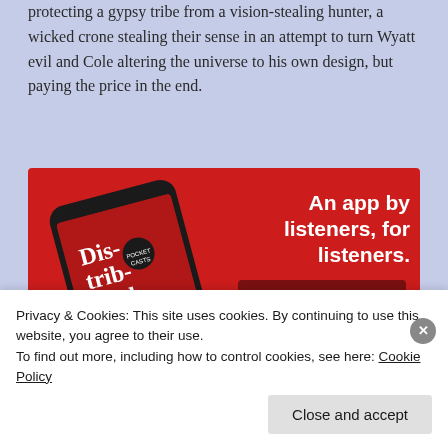protecting a gypsy tribe from a vision-stealing hunter, a wicked crone stealing their sense in an attempt to turn Wyatt evil and Cole altering the universe to his own design, but paying the price in the end.
[Figure (screenshot): Advertisement for a podcast app showing a smartphone displaying a podcast episode called 'Distributed'. Text reads 'An app by listeners, for listeners.' with a 'Download now' button on a red background.]
Privacy & Cookies: This site uses cookies. By continuing to use this website, you agree to their use.
To find out more, including how to control cookies, see here: Cookie Policy
Close and accept